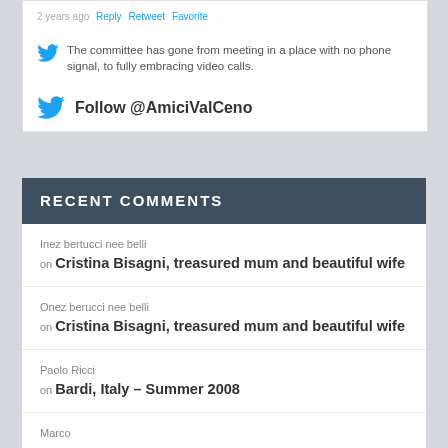2 years ago · Reply · Retweet · Favorite
The committee has gone from meeting in a place with no phone signal, to fully embracing video calls.
Follow @AmiciValCeno
RECENT COMMENTS
Inez bertucci nee belli on Cristina Bisagni, treasured mum and beautiful wife
Onez berucci nee belli on Cristina Bisagni, treasured mum and beautiful wife
Paolo Ricci on Bardi, Italy – Summer 2008
Marco